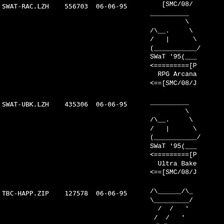SWAT-RAC.LZH    556703   06-06-95
[Figure (illustration): ASCII art of SWaT '95 logo with hexagonal shape, partially visible. Lines include: /\_. \, / | \, (___/, SWaT '95(___, <========[P, RPG Arcana, <==[SMC/08/J]
SWAT-UBK.LZH    435306   06-06-95
[Figure (illustration): ASCII art of SWaT '95 logo with hexagonal shape, partially visible. Lines include: /\_. \, / | \, (___/, SWaT '95(___, <========[P, Ultra Bake, <==[SMC/08/J]
TBC-HAPP.ZIP    127578   06-06-95
[Figure (illustration): ASCII art logo partially visible with lines: /\_____/\_, \_____/, / / ', / / ', =/\/\_____, | |    Gam, --------]